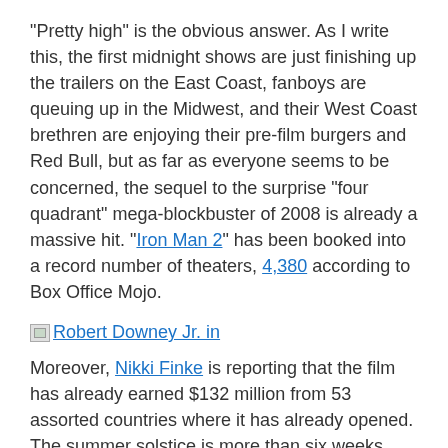“Pretty high” is the obvious answer. As I write this, the first midnight shows are just finishing up the trailers on the East Coast, fanboys are queuing up in the Midwest, and their West Coast brethren are enjoying their pre-film burgers and Red Bull, but as far as everyone seems to be concerned, the sequel to the surprise “four quadrant” mega-blockbuster of 2008 is already a massive hit. “Iron Man 2” has been booked into a record number of theaters, 4,380 according to Box Office Mojo.
[Figure (other): Broken image icon followed by link text 'Robert Downey Jr. in']
Moreover, Nikki Finke is reporting that the film has already earned $132 million from 53 assorted countries where it has already opened. The summer solstice is more than six weeks away, but summer-time film madness is, we are informed, very much upon us. (Just btw, Anthony D’Alessandro offers a brief historical look at the outward creep of the summer movie season over